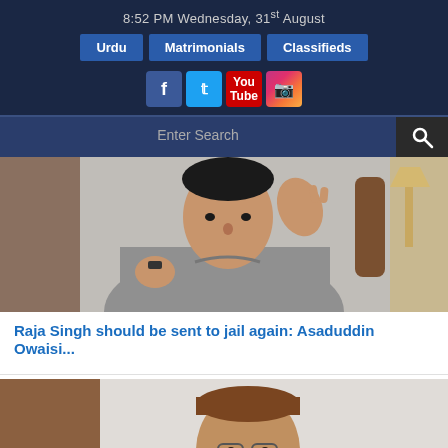8:52 PM Wednesday, 31st August
Urdu | Matrimonials | Classifieds
[Figure (screenshot): Social media icons: Facebook, Twitter, YouTube, Instagram]
Enter Search
[Figure (photo): Person in grey full-sleeve shirt seated, gesturing with raised hand]
Raja Singh should be sent to jail again: Asaduddin Owaisi...
[Figure (photo): Asaduddin Owaisi wearing a brown cap and glasses, seated]